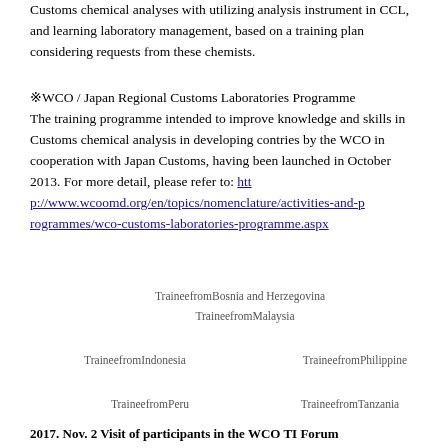Customs chemical analyses with utilizing analysis instrument in CCL, and learning laboratory management, based on a training plan considering requests from these chemists.
※WCO / Japan Regional Customs Laboratories Programme
The training programme intended to improve knowledge and skills in Customs chemical analysis in developing contries by the WCO in cooperation with Japan Customs, having been launched in October 2013. For more detail, please refer to: http://www.wcoomd.org/en/topics/nomenclature/activities-and-programmes/wco-customs-laboratories-programme.aspx
TraineefromBosnia and Herzegovina
TraineefromMalaysia
TraineefromIndonesia
TraineefromPhilippine
TraineefromPeru
TraineefromTanzania
2017. Nov. 2 Visit of participants in the WCO TI Forum